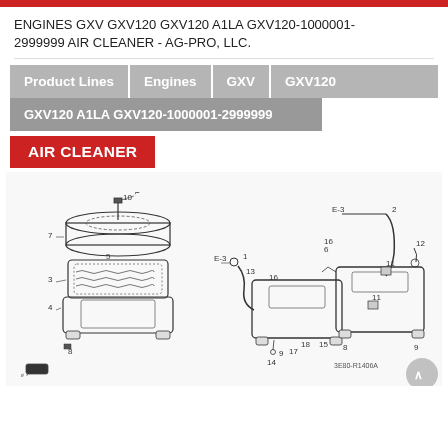ENGINES GXV GXV120 GXV120 A1LA GXV120-1000001-2999999 AIR CLEANER - AG-PRO, LLC.
Product Lines | Engines | GXV | GXV120
GXV120 A1LA GXV120-1000001-2999999
AIR CLEANER
[Figure (engineering-diagram): Exploded parts diagram of Honda GXV120 air cleaner assembly showing numbered components: air filter housing cover (7, 10), air filter element (3, 5), air cleaner base (4, 9), breather tube components (E-3, 1, 2, 6, 16, 17, 18), bolts and screws (8, 14, 15, 18), bracket (11), clamp (12), and related hardware. Part number 3E80-R1406A shown at bottom right.]